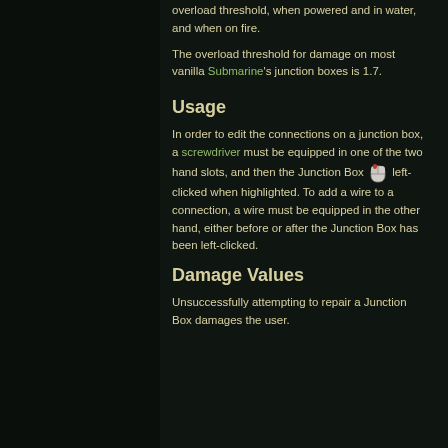overload threshold, when powered and in water, and when on fire.
The overload threshold for damage on most vanilla Submarine's junction boxes is 1.7.
Usage
In order to edit the connections on a junction box, a screwdriver must be equipped in one of the two hand slots, and then the Junction Box [mouse icon] left-clicked when highlighted. To add a wire to a connection, a wire must be equipped in the other hand, either before or after the Junction Box has been left-clicked.
Damage Values
Unsuccessfully attempting to repair a Junction Box damages the user.